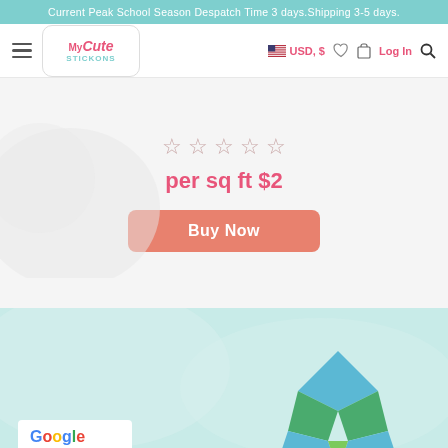Current Peak School Season Despatch Time 3 days.Shipping 3-5 days.
[Figure (screenshot): Navigation bar with hamburger menu, MyCute Stickons logo, USD currency selector with US flag, heart icon, bag icon, Log In link, and search icon]
per sq ft $2
Buy Now
[Figure (illustration): Teal/mint colored background section with watermark cloud shapes, transitioning to bottom section with Google review badge and origami globe illustration]